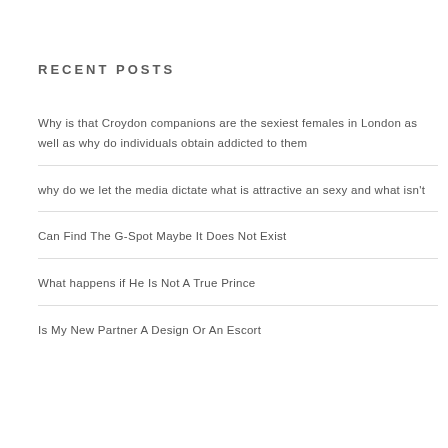RECENT POSTS
Why is that Croydon companions are the sexiest females in London as well as why do individuals obtain addicted to them
why do we let the media dictate what is attractive an sexy and what isn't
Can Find The G-Spot Maybe It Does Not Exist
What happens if He Is Not A True Prince
Is My New Partner A Design Or An Escort